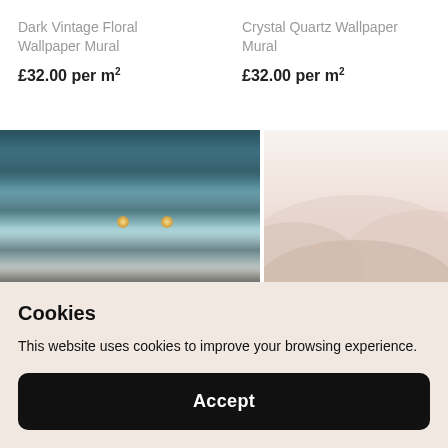Dark Vintage Floral Wallpaper Mural
£32.00 per m²
Crystal Quartz Wallpaper Mural
£32.00 per m²
[Figure (photo): Dark forest/tree wallpaper mural shown in a bedroom with a pendant lamp and brown headboard]
[Figure (photo): Soft pink/beige abstract mountain landscape wallpaper mural]
Cookies
This website uses cookies to improve your browsing experience.
Accept